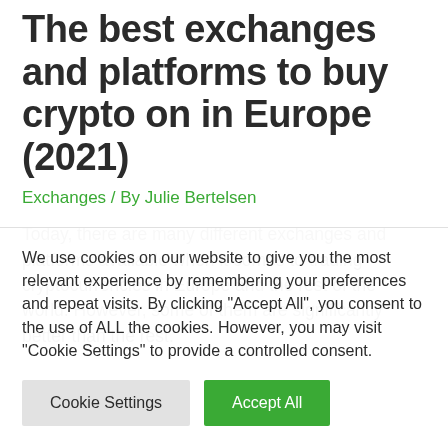The best exchanges and platforms to buy crypto on in Europe (2021)
Exchanges / By Julie Bertelsen
Today, there are many different exchanges and platforms available when it comes to trading cryptocurrencies in Europe and the rest of the world. However, some of them are significantly better than the rest.
We use cookies on our website to give you the most relevant experience by remembering your preferences and repeat visits. By clicking "Accept All", you consent to the use of ALL the cookies. However, you may visit "Cookie Settings" to provide a controlled consent.